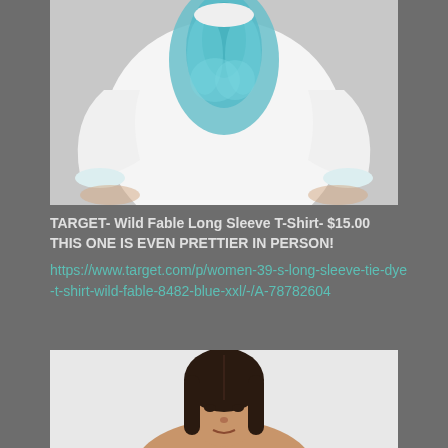[Figure (photo): Woman wearing a white and teal tie-dye long sleeve t-shirt, cropped to show torso and arms, gray background]
TARGET- Wild Fable Long Sleeve T-Shirt- $15.00
THIS ONE IS EVEN PRETTIER IN PERSON!
https://www.target.com/p/women-39-s-long-sleeve-tie-dye-t-shirt-wild-fable-8482-blue-xxl/-/A-78782604
[Figure (photo): Woman with straight dark hair, head and shoulders visible, white background]